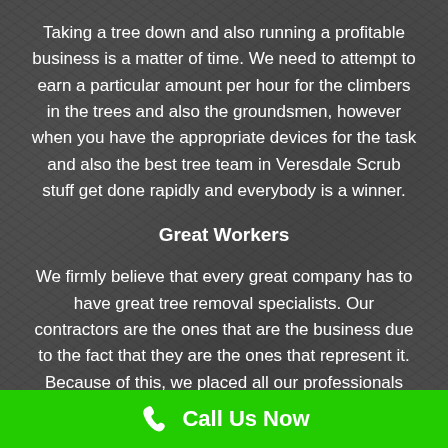Taking a tree down and also running a profitable business is a matter of time. We need to attempt to earn a particular amount per hour for the climbers in the trees and also the groundsmen, however when you have the appropriate devices for the task and also the best tree team in Veresdale Scrub stuff get done rapidly and everybody is a winner.
Great Workers
We firmly believe that every great company has to have great tree removal specialists. Our contractors are the ones that are the business due to the fact that they are the ones that represent it. Because of this, we placed all our professionals through rigorous screening processes! They
Call Us Now